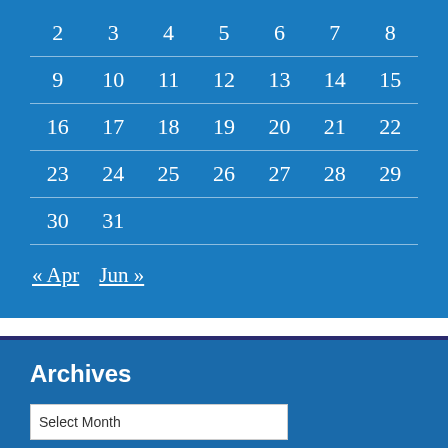| 2 | 3 | 4 | 5 | 6 | 7 | 8 |
| 9 | 10 | 11 | 12 | 13 | 14 | 15 |
| 16 | 17 | 18 | 19 | 20 | 21 | 22 |
| 23 | 24 | 25 | 26 | 27 | 28 | 29 |
| 30 | 31 |  |  |  |  |  |
« Apr   Jun »
Archives
Select Month